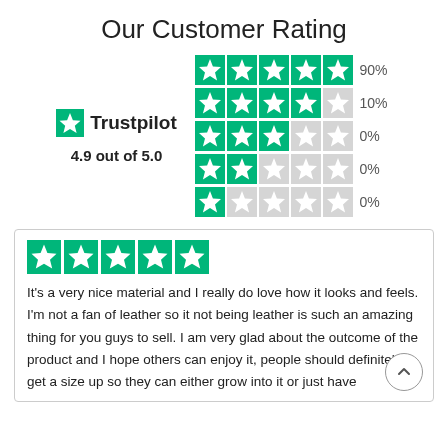Our Customer Rating
[Figure (infographic): Trustpilot rating display showing star distribution: 5 stars 90%, 4 stars 10%, 3 stars 0%, 2 stars 0%, 1 star 0%. Score: 4.9 out of 5.0]
It's a very nice material and I really do love how it looks and feels. I'm not a fan of leather so it not being leather is such an amazing thing for you guys to sell. I am very glad about the outcome of the product and I hope others can enjoy it, people should definitely get a size up so they can either grow into it or just have